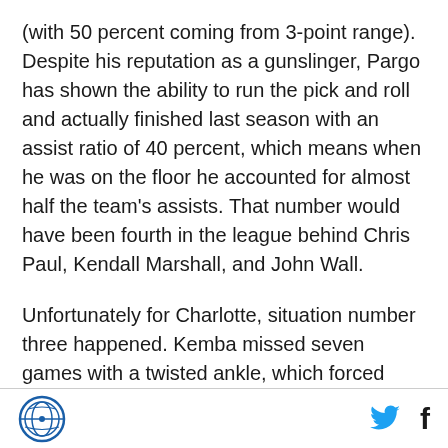(with 50 percent coming from 3-point range). Despite his reputation as a gunslinger, Pargo has shown the ability to run the pick and roll and actually finished last season with an assist ratio of 40 percent, which means when he was on the floor he accounted for almost half the team's assists. That number would have been fourth in the league behind Chris Paul, Kendall Marshall, and John Wall.
Unfortunately for Charlotte, situation number three happened. Kemba missed seven games with a twisted ankle, which forced Ramon Sessions into the starting role and Pargo into the back up spot. However, fortunately for Charlotte, both guards played very well
[logo] [twitter] [facebook]